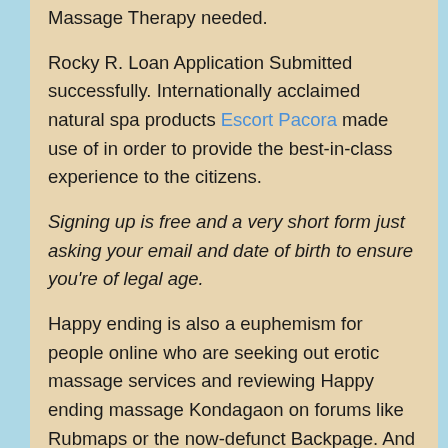Massage Therapy needed.
Rocky R. Loan Application Submitted successfully. Internationally acclaimed natural spa products Escort Pacora made use of in order to provide the best-in-class experience to the citizens.
Signing up is free and a very short form just asking your email and date of birth to ensure you're of legal age.
Happy ending is also a euphemism for people online who are seeking out erotic massage services and reviewing Happy ending massage Kondagaon on forums like Rubmaps or the now-defunct Backpage. And for almost nothing. Thanks for submitting the details our executive will contact you soon. Ancient